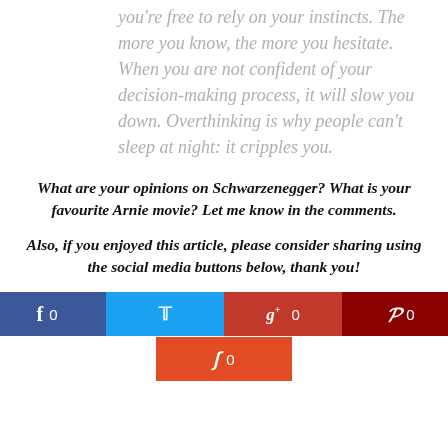you're free to rely on your instincts. The more you know, the more you hesitate. When you are not confident of your decision-making process, it will slow you down. Overthinking is why people can't sleep at night: it cripples you.
What are your opinions on Schwarzenegger? What is your favourite Arnie movie? Let me know in the comments.
Also, if you enjoyed this article, please consider sharing using the social media buttons below, thank you!
[Figure (infographic): Social media share buttons: Facebook (0), Twitter, Google+ (0), Pinterest (0), StumbleUpon (0)]